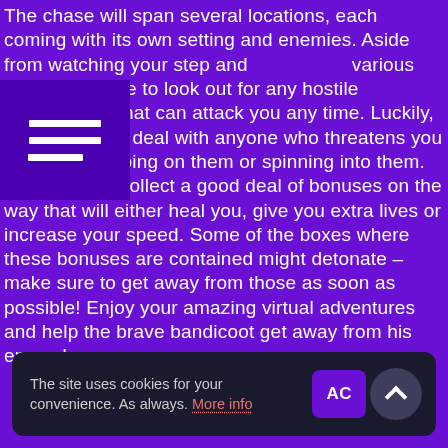The chase will span several locations, each coming with its own setting and enemies. Aside from watching your step and various traps, you have to look out for any hostile s that can attack you any time. Luckily, you can easily deal with anyone who threatens you simply by jumping on them or spinning into them. You can also collect a good deal of bonuses on the way that will either heal you, give you extra lives or increase your speed. Some of the boxes where these bonuses are contained might detonate – make sure to get away from those as soon as possible! Enjoy your amazing virtual adventures and help the brave bandicoot get away from his enemy!
[Figure (other): Hamburger menu icon with three horizontal lines on a dark purple background]
The site uses cookies for your convenience. As always. More info